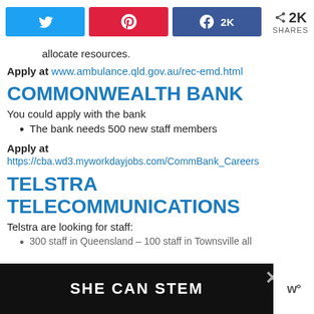[Figure (screenshot): Social share bar with Twitter, Pinterest, Facebook (2K) buttons and 2K SHARES count]
allocate resources.
Apply at www.ambulance.qld.gov.au/rec-emd.html
COMMONWEALTH BANK
You could apply with the bank
The bank needs 500 new staff members
Apply at
https://cba.wd3.myworkdayjobs.com/CommBank_Careers
TELSTRA TELECOMMUNICATIONS
Telstra are looking for staff:
300 staff in Queensland – 100 staff in Townsville all
[Figure (screenshot): Advertisement banner: SHE CAN STEM with close button and logo]